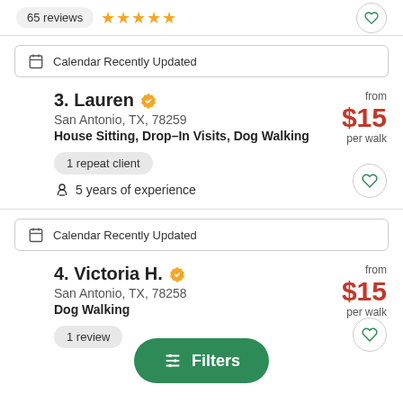65 reviews ★★★★★
Calendar Recently Updated
3. Lauren
San Antonio, TX, 78259
House Sitting, Drop–In Visits, Dog Walking
from $15 per walk
1 repeat client
5 years of experience
Calendar Recently Updated
4. Victoria H.
San Antonio, TX, 78258
Dog Walking
from $15 per walk
1 review
Filters